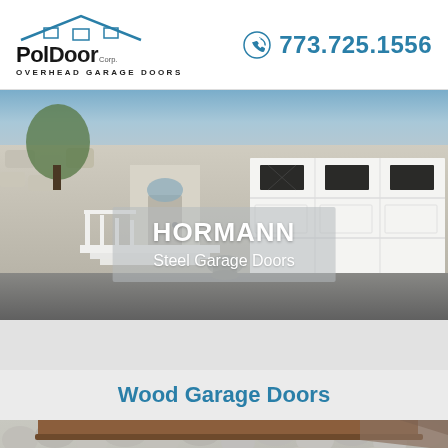[Figure (logo): PolDoor Corp. Overhead Garage Doors company logo with roof graphic]
773.725.1556
[Figure (photo): Hormann Steel Garage Doors — white double garage door on stone-facade house with white railings and steps]
HORMANN Steel Garage Doors
Wood Garage Doors
[Figure (photo): Partial view of a wood garage door on a stone-facade house]